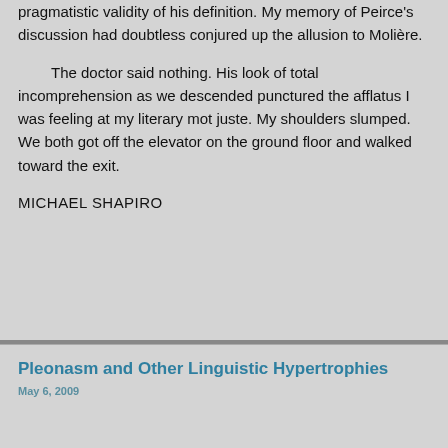pragmatistic validity of his definition. My memory of Peirce's discussion had doubtless conjured up the allusion to Molière.
The doctor said nothing. His look of total incomprehension as we descended punctured the afflatus I was feeling at my literary mot juste. My shoulders slumped. We both got off the elevator on the ground floor and walked toward the exit.
MICHAEL SHAPIRO
Pleonasm and Other Linguistic Hypertrophies
May 6, 2009
All linguistic variety, including social and dialectal